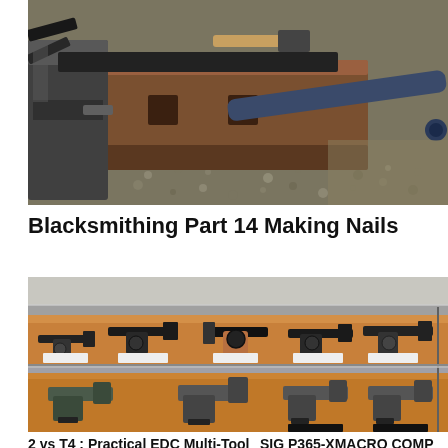[Figure (photo): Blacksmithing scene: metal tools, hammer, pipe/rod and anvil on gravel background]
Blacksmithing Part 14 Making Nails
[Figure (photo): Glass display case showing multiple vintage handguns and revolvers arranged on wooden shelves]
2 vs T4 : Practical EDC Multi-Tool
SIG P365-XMACRO COMP